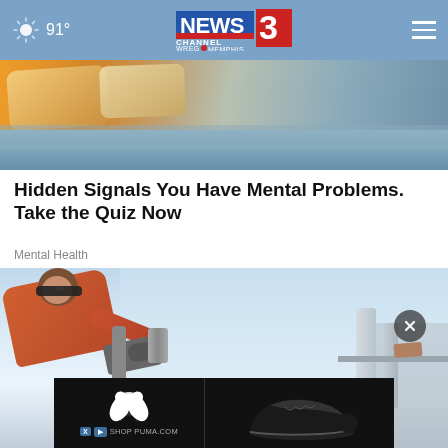NEWS CHANNEL 3 WREG MEMPHIS | 91°
[Figure (photo): Photo of a bed with pillows in warm orange/golden light with blue/grey tones in the background]
Hidden Signals You Have Mental Problems. Take the Quiz Now
Mental Health
[Figure (photo): Man in orange shirt wearing sunglasses leaning over motorcycle handlebars, blue sky background, with rooftop structure visible on right side. A Puma advertisement banner overlay at the bottom showing a black sneaker and SHOP PUMA.COM text.]